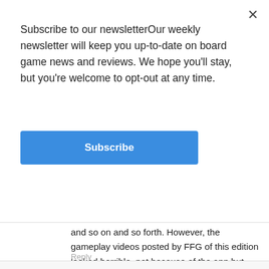Subscribe to our newsletterOur weekly newsletter will keep you up-to-date on board game news and reviews. We hope you'll stay, but you're welcome to opt-out at any time.
Subscribe
and so on and so forth. However, the gameplay videos posted by FFG of this edition looked horrible, not because of the app but because the combat was bland and lacked skills and effects.
But reading this, seeing the app-integration, it looks really smooth. Too bad it's so excessively priced as it looks like a prime candidate for “try before you buy”.
Reply
Tony Mastrangeli
Aug 7, 2021 at 7:45 am